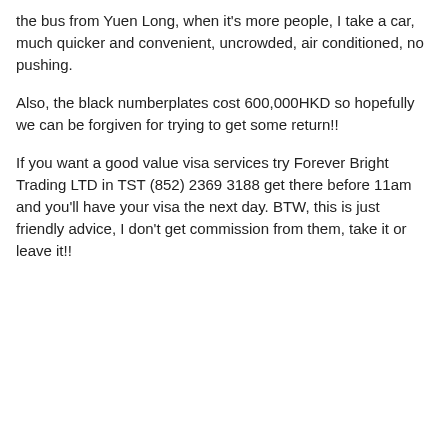the bus from Yuen Long, when it's more people, I take a car, much quicker and convenient, uncrowded, air conditioned, no pushing.
Also, the black numberplates cost 600,000HKD so hopefully we can be forgiven for trying to get some return!!
If you want a good value visa services try Forever Bright Trading LTD in TST (852) 2369 3188 get there before 11am and you'll have your visa the next day. BTW, this is just friendly advice, I don't get commission from them, take it or leave it!!
29-06-2010, 04:11 PM
eddiew888
Join Date: Oct 2008
Posts: 256
Originally Posted by aschwartz:
Wow 800hkd...that seems like a lot to go there...I think the